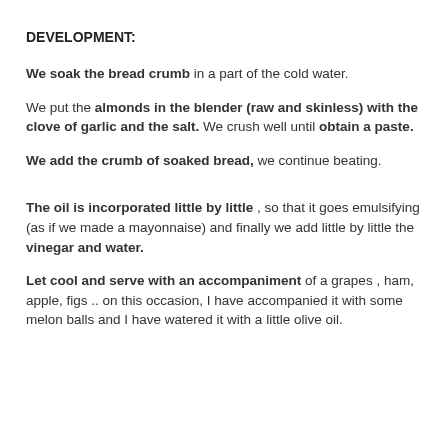DEVELOPMENT:
We soak the bread crumb in a part of the cold water.
We put the almonds in the blender (raw and skinless) with the clove of garlic and the salt. We crush well until obtain a paste.
We add the crumb of soaked bread, we continue beating.
The oil is incorporated little by little , so that it goes emulsifying (as if we made a mayonnaise) and finally we add little by little the vinegar and water.
Let cool and serve with an accompaniment of a grapes , ham, apple, figs .. on this occasion, I have accompanied it with some melon balls and I have watered it with a little olive oil.